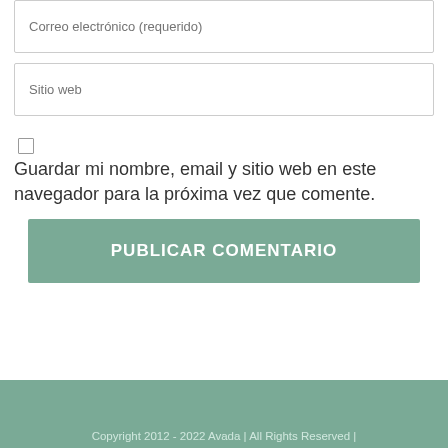Correo electrónico (requerido)
Sitio web
Guardar mi nombre, email y sitio web en este navegador para la próxima vez que comente.
PUBLICAR COMENTARIO
Copyright 2012 - 2022 Avada | All Rights Reserved |